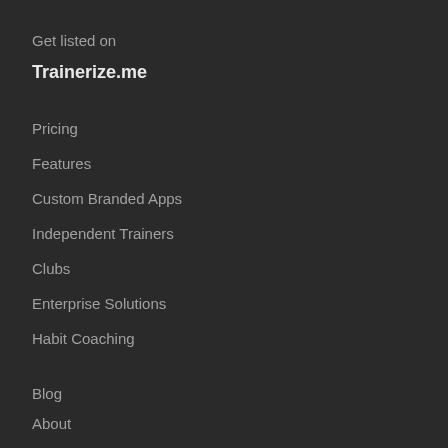Get listed on
Trainerize.me
Pricing
Features
Custom Branded Apps
Independent Trainers
Clubs
Enterprise Solutions
Habit Coaching
Blog
About
Contact